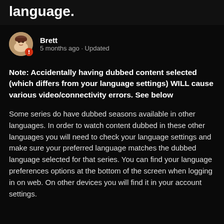language.
[Figure (illustration): Anime-style avatar of Brett with a badge icon]
Brett
5 months ago · Updated
Note: Accidentally having dubbed content selected (which differs from your language settings) WILL cause various video/connectivity errors. See below
Some series do have dubbed seasons available in other languages. In order to watch content dubbed in these other languages you will need to check your language settings and make sure your preferred language matches the dubbed language selected for that series. You can find your language preferences options at the bottom of the screen when logging in on web. On other devices you will find it in your account settings.